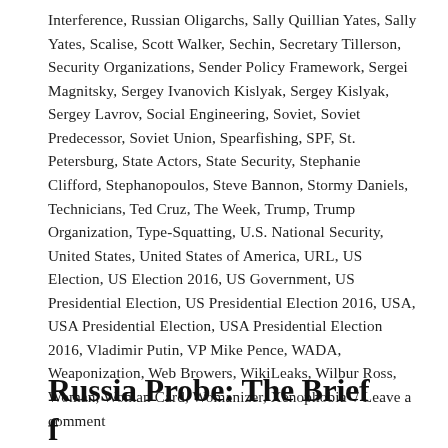Interference, Russian Oligarchs, Sally Quillian Yates, Sally Yates, Scalise, Scott Walker, Sechin, Secretary Tillerson, Security Organizations, Sender Policy Framework, Sergei Magnitsky, Sergey Ivanovich Kislyak, Sergey Kislyak, Sergey Lavrov, Social Engineering, Soviet, Soviet Predecessor, Soviet Union, Spearfishing, SPF, St. Petersburg, State Actors, State Security, Stephanie Clifford, Stephanopoulos, Steve Bannon, Stormy Daniels, Technicians, Ted Cruz, The Week, Trump, Trump Organization, Type-Squatting, U.S. National Security, United States, United States of America, URL, US Election, US Election 2016, US Government, US Presidential Election, US Presidential Election 2016, USA, USA Presidential Election, USA Presidential Election 2016, Vladimir Putin, VP Mike Pence, WADA, Weaponization, Web Browers, WikiLeaks, Wilbur Ross, Woman, Woman Card, Womanizer, Xenophobia / Leave a comment
Russia Probe: The Brief from